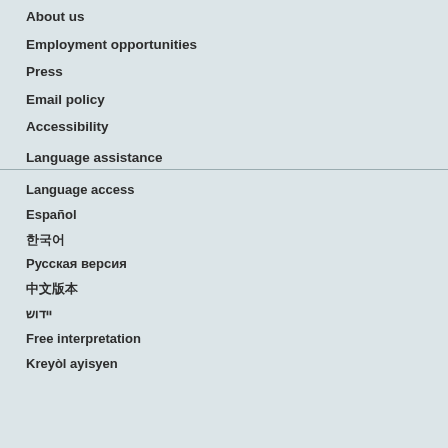About us
Employment opportunities
Press
Email policy
Accessibility
Language assistance
Language access
Español
한국어
Русская версия
中文版本
יידוש
Free interpretation
Kreyòl ayisyen